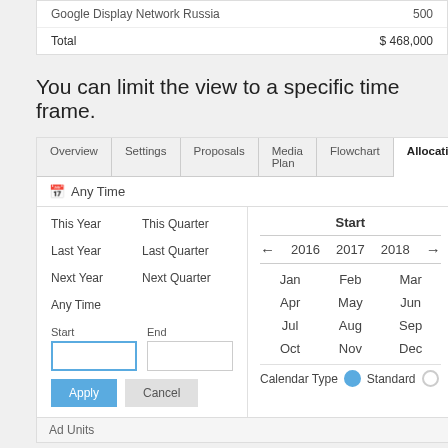| Item | Value |
| --- | --- |
| Google Display Network Russia | 500 |
| Total | $ 468,000 |
You can limit the view to a specific time frame.
[Figure (screenshot): UI panel showing tabs (Overview, Settings, Proposals, Media Plan, Flowchart, Allocations), a time filter dropdown with quick links (This Year, This Quarter, Last Year, Last Quarter, Next Year, Next Quarter, Any Time), Start/End date inputs, Apply/Cancel buttons, and a calendar date picker showing 2016-2018 with month grid and Calendar Type selector.]
Ad Units